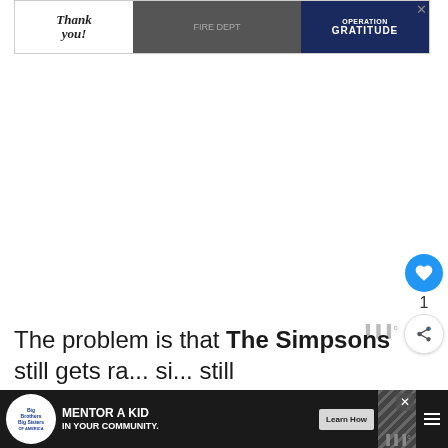[Figure (screenshot): Advertisement banner at top: 'Thank you!' with pencil graphic on left, firefighters photo in center, Operation Gratitude logo on right with close button]
[Figure (screenshot): Like button (blue circle with heart icon), count of 1, and share button (white circle with share icon) on right side]
[Figure (other): Watermark/logo mark in bottom right of main content area]
The problem is that The Simpsons still gets ra... si... still
[Figure (screenshot): Advertisement banner at bottom: Big Brothers Big Sisters logo, 'MENTOR A KID IN YOUR COMMUNITY.' text, Learn How button, diagonal stripe pattern, hamburger menu icon, watermark]